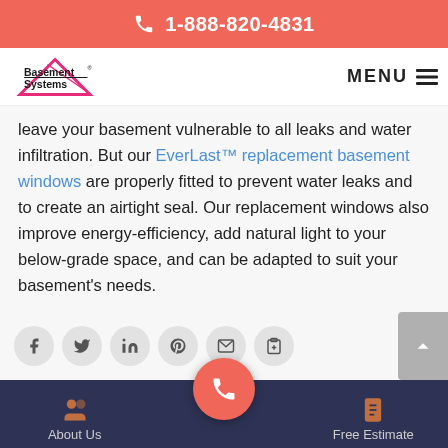1-888-820-4831
[Figure (logo): Basement Systems logo with pink triangle]
leave your basement vulnerable to all leaks and water infiltration. But our EverLast™ replacement basement windows are properly fitted to prevent water leaks and to create an airtight seal. Our replacement windows also improve energy-efficiency, add natural light to your below-grade space, and can be adapted to suit your basement's needs.
[Figure (infographic): Social media sharing icons row: Facebook, Twitter, LinkedIn, Pinterest, Email, Clipboard/Add. Scroll-to-top button on right.]
About Us | [call button] | Free Estimate